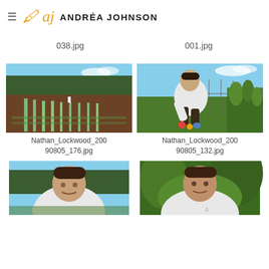ANDRÉA JOHNSON
038.jpg
001.jpg
[Figure (photo): Wide landscape photo of a garden/farm with rows of plants, trees in background, person in white in the distance]
Nathan_Lockwood_200
90805_176.jpg
[Figure (photo): Photo of a chef in white jacket crouching in a garden picking vegetables]
Nathan_Lockwood_200
90805_132.jpg
[Figure (photo): Partial photo of a man in white chef jacket outdoors, crouching]
[Figure (photo): Partial photo of a man in white chef jacket looking at camera, outdoors greenery]